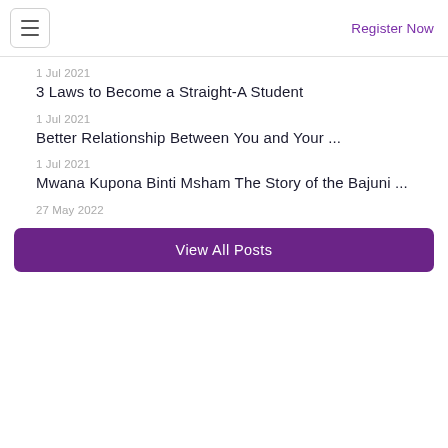Register Now
1 Jul 2021
3 Laws to Become a Straight-A Student
1 Jul 2021
Better Relationship Between You and Your ...
1 Jul 2021
Mwana Kupona Binti Msham The Story of the Bajuni ...
27 May 2022
View All Posts